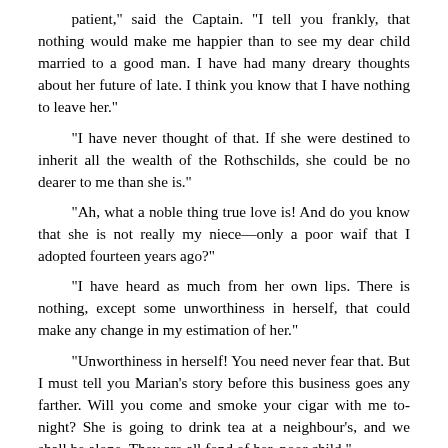patient," said the Captain. "I tell you frankly, that nothing would make me happier than to see my dear child married to a good man. I have had many dreary thoughts about her future of late. I think you know that I have nothing to leave her."
"I have never thought of that. If she were destined to inherit all the wealth of the Rothschilds, she could be no dearer to me than she is."
"Ah, what a noble thing true love is! And do you know that she is not really my niece—only a poor waif that I adopted fourteen years ago?"
"I have heard as much from her own lips. There is nothing, except some unworthiness in herself, that could make any change in my estimation of her."
"Unworthiness in herself! You need never fear that. But I must tell you Marian's story before this business goes any farther. Will you come and smoke your cigar with me to-night? She is going to drink tea at a neighbour's, and we shall be alone. They are all fond of her, poor child."
"I shall be very happy to come. And in the meantime, you will try and ascertain the real state of her feelings